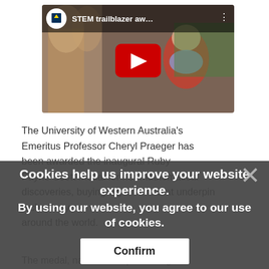[Figure (screenshot): YouTube video thumbnail showing 'STEM trailblazer aw...' with University of Western Australia logo, red play button, and a person in a red jacket with blue scarf standing in an arched corridor]
The University of Western Australia's Emeritus Professor Cheryl Praeger has been awarded the inaugural Ruby Payne-Scott Medal for her mathematical discoveries, buying algorithms that underpin technology around the world.
Cookies help us improve your website experience.
By using our website, you agree to our use of cookies.
Confirm
The medal, named after pioneering